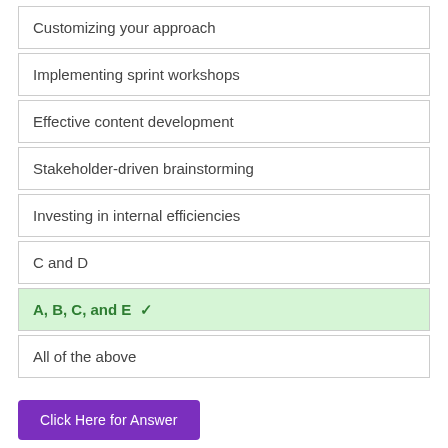Customizing your approach
Implementing sprint workshops
Effective content development
Stakeholder-driven brainstorming
Investing in internal efficiencies
C and D
A, B, C, and E ✓
All of the above
Click Here for Answer
Our website uses cookies to enhance your experience. Learn More
Accept !